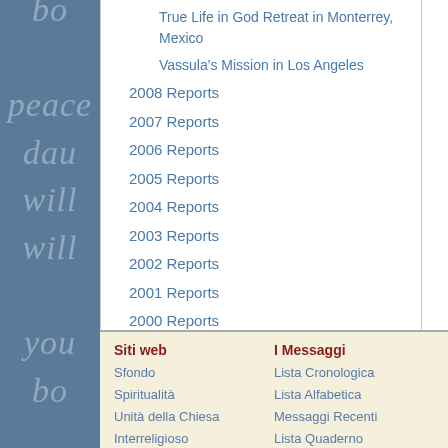True Life in God Retreat in Monterrey, Mexico
Vassula's Mission in Los Angeles
2008 Reports
2007 Reports
2006 Reports
2005 Reports
2004 Reports
2003 Reports
2002 Reports
2001 Reports
2000 Reports
1999 Reports
1998 Reports
1997 Reports
1996 Reports
Evangelisation
Foundation
Dono all'Associazione
Siti web | Sfondo | Spiritualità | Unità della Chiesa | Interreligioso | I Messaggi | Lista Cronologica | Lista Alfabetica | Messaggi Recenti | Lista Quaderno